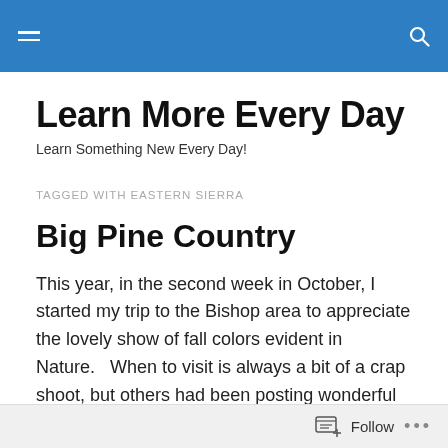Learn More Every Day — navigation bar with hamburger menu and search icon
Learn More Every Day
Learn Something New Every Day!
TAGGED WITH EASTERN SIERRA
Big Pine Country
This year, in the second week in October, I started my trip to the Bishop area to appreciate the lovely show of fall colors evident in Nature.   When to visit is always a bit of a crap shoot, but others had been posting wonderful photos,
Follow • • •